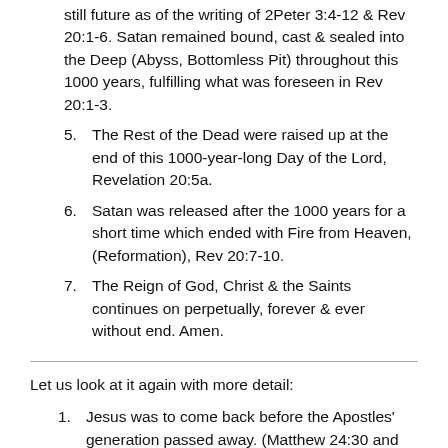still future as of the writing of 2Peter 3:4-12 & Rev 20:1-6. Satan remained bound, cast & sealed into the Deep (Abyss, Bottomless Pit) throughout this 1000 years, fulfilling what was foreseen in Rev 20:1-3.
5. The Rest of the Dead were raised up at the end of this 1000-year-long Day of the Lord, Revelation 20:5a.
6. Satan was released after the 1000 years for a short time which ended with Fire from Heaven, (Reformation), Rev 20:7-10.
7. The Reign of God, Christ & the Saints continues on perpetually, forever & ever without end. Amen.
Let us look at it again with more detail:
1. Jesus was to come back before the Apostles' generation passed away. (Matthew 24:30 and Matthew 24:34). Deuteronomy 1:21...